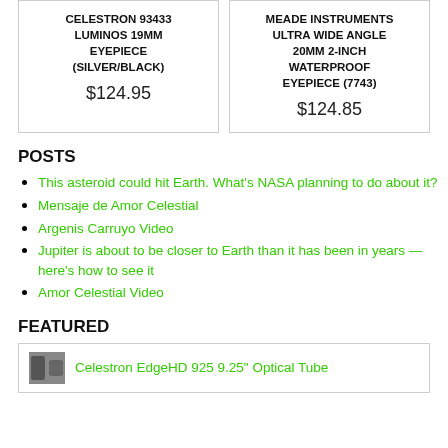CELESTRON 93433 LUMINOS 19MM EYEPIECE (SILVER/BLACK)
$124.95
MEADE INSTRUMENTS ULTRA WIDE ANGLE 20MM 2-INCH WATERPROOF EYEPIECE (7743)
$124.85
POSTS
This asteroid could hit Earth. What's NASA planning to do about it?
Mensaje de Amor Celestial
Argenis Carruyo Video
Jupiter is about to be closer to Earth than it has been in years — here's how to see it
Amor Celestial Video
FEATURED
Celestron EdgeHD 925 9.25" Optical Tube